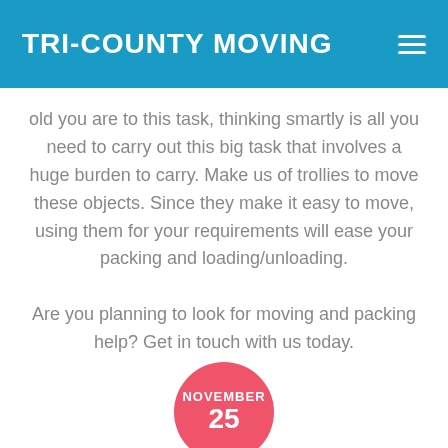TRI-COUNTY MOVING
old you are to this task, thinking smartly is all you need to carry out this big task that involves a huge burden to carry. Make us of trollies to move these objects. Since they make it easy to move, using them for your requirements will ease your packing and loading/unloading.
Are you planning to look for moving and packing help? Get in touch with us today.
[Figure (other): Round pink/red date badge showing NOVEMBER 25]